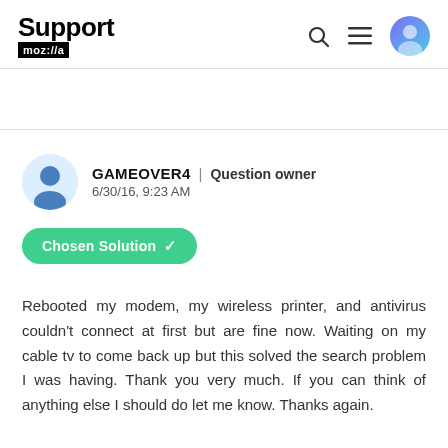Support mozilla//a
GAMEOVER4 | Question owner
6/30/16, 9:23 AM
Chosen Solution ✓
Rebooted my modem, my wireless printer, and antivirus couldn't connect at first but are fine now. Waiting on my cable tv to come back up but this solved the search problem I was having. Thank you very much. If you can think of anything else I should do let me know. Thanks again.